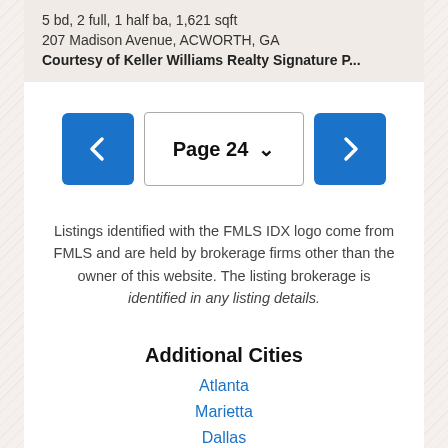5 bd, 2 full, 1 half ba, 1,621 sqft
207 Madison Avenue, ACWORTH, GA
Courtesy of Keller Williams Realty Signature P...
Page 24
Listings identified with the FMLS IDX logo come from FMLS and are held by brokerage firms other than the owner of this website. The listing brokerage is identified in any listing details.
Additional Cities
Atlanta
Marietta
Dallas